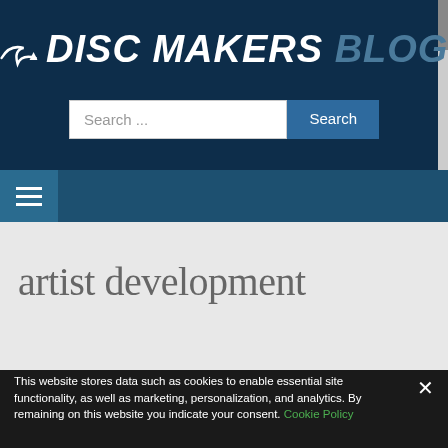DISC MAKERS BLOG
[Figure (screenshot): Search input field with placeholder 'Search ...' and a blue Search button]
[Figure (other): Hamburger menu icon (three horizontal lines) on dark blue navigation bar]
artist development
This website stores data such as cookies to enable essential site functionality, as well as marketing, personalization, and analytics. By remaining on this website you indicate your consent. Cookie Policy